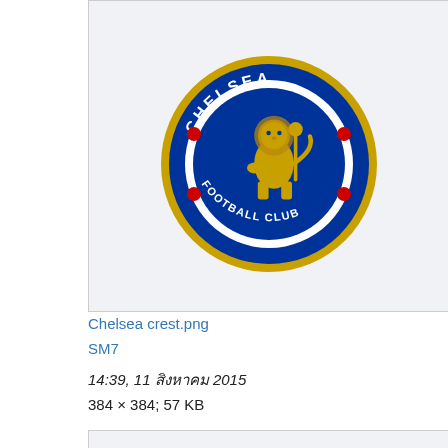[Figure (logo): Chelsea Football Club crest logo — circular blue badge with gold trim, lion rampant in center, red roses, text CHELSEA top and FOOTBALL CLUB bottom]
Chelsea crest.png
SM7
14:39, 11 สิงหาคม 2015
384 × 384; 57 KB
[Figure (logo): Liverpool Football Club crest logo — shield shape with red and white, Liver bird, flames, YOU'LL NEVER WALK ALONE banner, EST 1892]
Liverpool FC logo.png
SM7